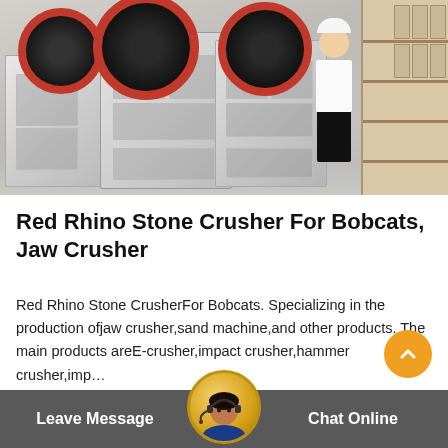[Figure (photo): Industrial factory photo showing large jaw crusher machines with red and black flywheels, with a man in white shirt and hard hat standing beside them. Wooden shelving visible on right side.]
Red Rhino Stone Crusher For Bobcats, Jaw Crusher
Red Rhino Stone CrusherFor Bobcats. Specializing in the production ofjaw crusher,sand machine,and other products. The main products areE-crusher,impact crusher,hammer crusher,imp…
Get Price
Leave Message
Chat Online